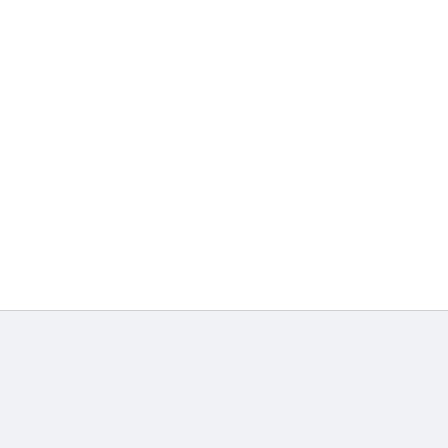Filename: Forge-of-Empires-1.228.14.apk
Version: v1.228.14